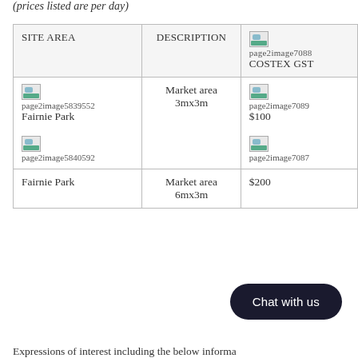(prices listed are per day)
| SITE AREA | DESCRIPTION | COSTEX GST |
| --- | --- | --- |
| page2image5839552 Fairnie Park
page2image5840592 | Market area 3mx3m | page2image7088
$100
page2image7087 |
| Fairnie Park | Market area 6mx3m | $200 |
Chat with us
Expressions of interest including the below informa